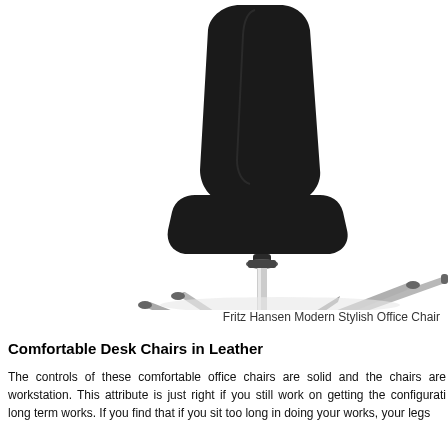[Figure (photo): A modern black leather office chair with a silver/chrome four-star swivel base, photographed from a side angle against a white background. The chair seat and back are black, and the pedestal column and base are metallic silver.]
Fritz Hansen Modern Stylish Office Chair
Comfortable Desk Chairs in Leather
The controls of these comfortable office chairs are solid and the chairs are workstation. This attribute is just right if you still work on getting the configurati long term works. If you find that if you sit too long in doing your works, your legs